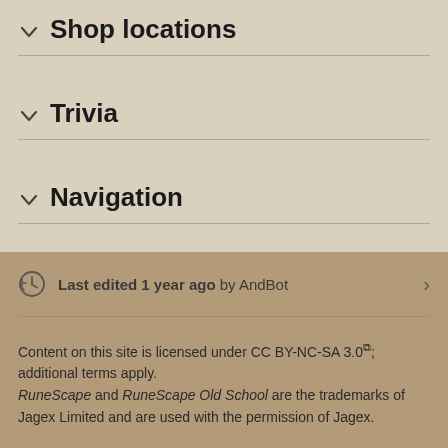Shop locations
Trivia
Navigation
Last edited 1 year ago by AndBot
Content on this site is licensed under CC BY-NC-SA 3.0; additional terms apply. RuneScape and RuneScape Old School are the trademarks of Jagex Limited and are used with the permission of Jagex.
Privacy policy • Desktop